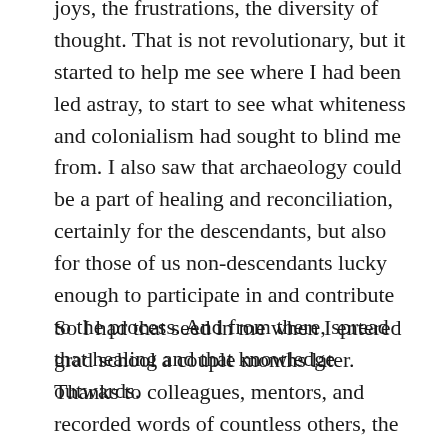joys, the frustrations, the diversity of thought. That is not revolutionary, but it started to help me see where I had been led astray, to start to see what whiteness and colonialism had sought to blind me from. I also saw that archaeology could be a part of healing and reconciliation, certainly for the descendants, but also for those of us non-descendants lucky enough to participate in and contribute to the process. And from there, spread that healing and that knowledge outwards.
So I had that seed in me when I entered grad school a couple months later. Thanks to colleagues, mentors, and recorded words of countless others, the seed began to sprout – I